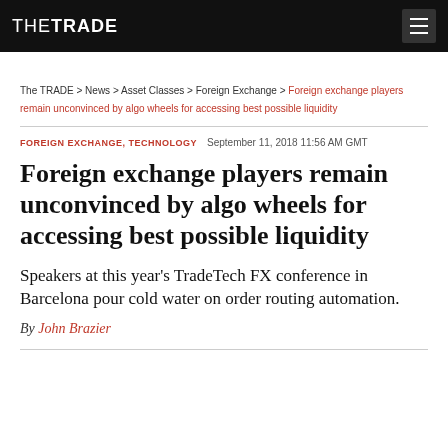THE TRADE
The TRADE > News > Asset Classes > Foreign Exchange > Foreign exchange players remain unconvinced by algo wheels for accessing best possible liquidity
FOREIGN EXCHANGE, TECHNOLOGY   September 11, 2018 11:56 AM GMT
Foreign exchange players remain unconvinced by algo wheels for accessing best possible liquidity
Speakers at this year’s TradeTech FX conference in Barcelona pour cold water on order routing automation.
By John Brazier